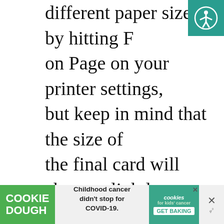different paper sizes by hitting Fit on Page on your printer settings, but keep in mind that the size of the final card will change slightly.

There is also a black and white version included with each design, in case you need to print multiple copies for an entire
[Figure (logo): Teal square with white accessibility icon (person with arms outstretched in circle) in top-right corner]
[Figure (infographic): Advertisement banner: Cookie Dough brand ad. Left green section says 'COOKIE DOUGH'. Middle text says 'Childhood cancer didn't stop for COVID-19.' Right teal section shows 'cookies for kids cancer' logo with 'GET BAKING' button. Close button on right.]